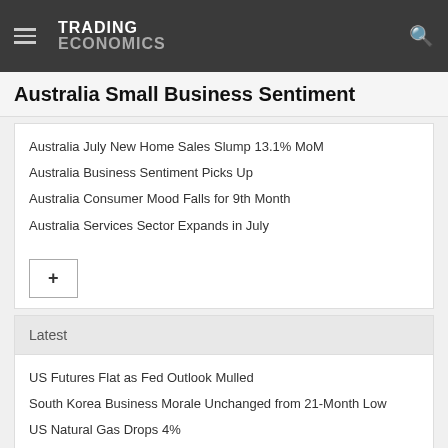TRADING ECONOMICS
Australia Small Business Sentiment
Australia July New Home Sales Slump 13.1% MoM
Australia Business Sentiment Picks Up
Australia Consumer Mood Falls for 9th Month
Australia Services Sector Expands in July
Latest
US Futures Flat as Fed Outlook Mulled
South Korea Business Morale Unchanged from 21-Month Low
US Natural Gas Drops 4%
South African Stocks End Higher